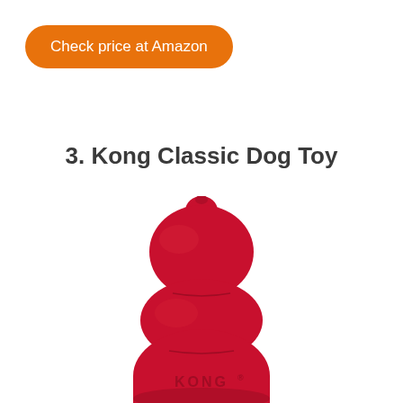[Figure (other): Orange rounded pill-shaped button with white text reading 'Check price at Amazon']
3. Kong Classic Dog Toy
[Figure (photo): Photo of a red KONG Classic dog toy, showing the iconic triple-bubble rubber shape with 'KONG' embossed on the lower section, on a white background]